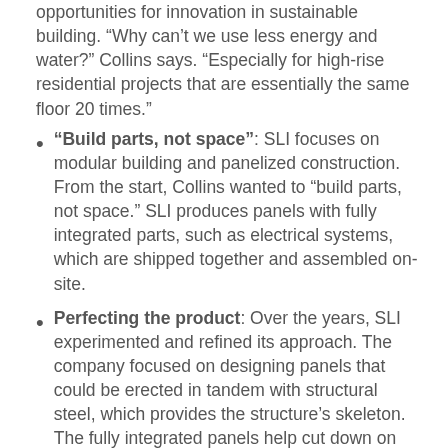opportunities for innovation in sustainable building. “Why can’t we use less energy and water?” Collins says. “Especially for high-rise residential projects that are essentially the same floor 20 times.”
“Build parts, not space”: SLI focuses on modular building and panelized construction. From the start, Collins wanted to “build parts, not space.” SLI produces panels with fully integrated parts, such as electrical systems, which are shipped together and assembled on-site.
Perfecting the product: Over the years, SLI experimented and refined its approach. The company focused on designing panels that could be erected in tandem with structural steel, which provides the structure’s skeleton. The fully integrated panels help cut down on resources, costs and time. “Literally 10 guys